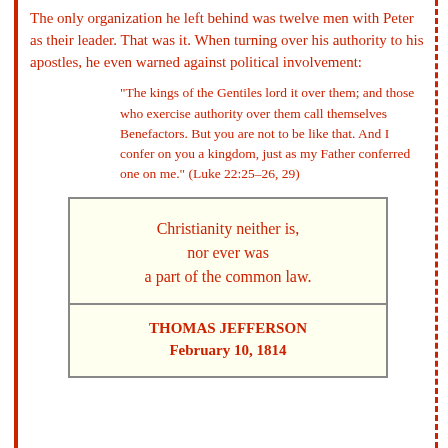The only organization he left behind was twelve men with Peter as their leader. That was it. When turning over his authority to his apostles, he even warned against political involvement:
"The kings of the Gentiles lord it over them; and those who exercise authority over them call themselves Benefactors. But you are not to be like that. And I confer on you a kingdom, just as my Father conferred one on me." (Luke 22:25–26, 29)
Christianity neither is, nor ever was a part of the common law.
THOMAS JEFFERSON February 10, 1814